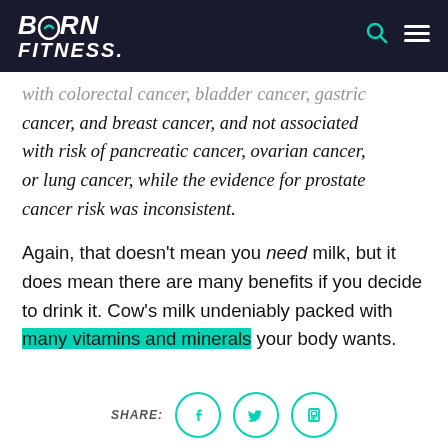BORN FITNESS
with colorectal cancer, bladder cancer, gastric cancer, and breast cancer, and not associated with risk of pancreatic cancer, ovarian cancer, or lung cancer, while the evidence for prostate cancer risk was inconsistent.
Again, that doesn't mean you need milk, but it does mean there are many benefits if you decide to drink it. Cow's milk undeniably packed with many vitamins and minerals your body wants.
SHARE: